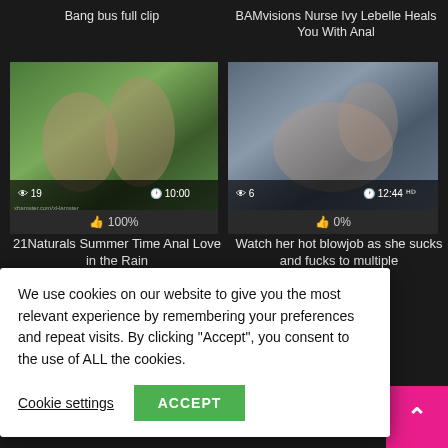Bang bus full clip
[Figure (photo): Thumbnail of video - outdoor scene]
BAMvisions Nurse Ivy Lebelle Heals You With Anal
[Figure (photo): Thumbnail of video - indoor kitchen scene]
👁 19   🕐 10:00
👁 6   🕐 12:44
👍 100%
👍 0%
21Naturals Summer Time Anal Love in the Rain
Watch her hot blowjob as she sucks and fucks to multiple
We use cookies on our website to give you the most relevant experience by remembering your preferences and repeat visits. By clicking “Accept”, you consent to the use of ALL the cookies.
Cookie settings
ACCEPT